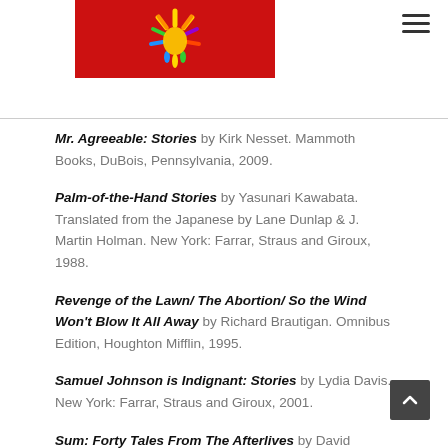[Figure (logo): Red background logo with colorful hand/sun illustration]
Mr. Agreeable: Stories by Kirk Nesset. Mammoth Books, DuBois, Pennsylvania, 2009.
Palm-of-the-Hand Stories by Yasunari Kawabata. Translated from the Japanese by Lane Dunlap & J. Martin Holman. New York: Farrar, Straus and Giroux, 1988.
Revenge of the Lawn/ The Abortion/ So the Wind Won't Blow It All Away by Richard Brautigan. Omnibus Edition, Houghton Mifflin, 1995.
Samuel Johnson is Indignant: Stories by Lydia Davis. New York: Farrar, Straus and Giroux, 2001.
Sum: Forty Tales From The Afterlives by David